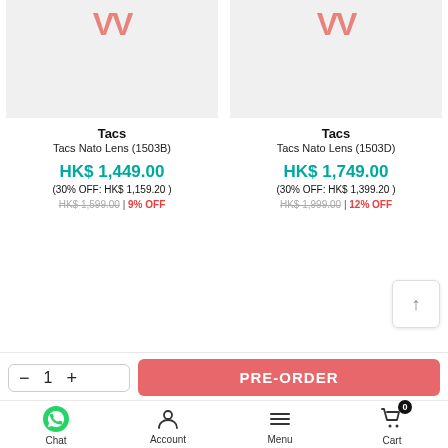[Figure (photo): Product image placeholder for Tacs Nato Lens 1503B with pink W logo on light grey background]
[Figure (photo): Product image placeholder for Tacs Nato Lens 1503D with pink W logo on light grey background]
Tacs
Tacs Nato Lens (1503B)
HK$ 1,449.00
(30% OFF: HK$ 1,159.20 )
HK$ 1,599.00 | 9% OFF
Tacs
Tacs Nato Lens (1503D)
HK$ 1,749.00
(30% OFF: HK$ 1,399.20 )
HK$ 1,999.00 | 12% OFF
− 1 +
PRE-ORDER
Chat   Account   Menu   Cart